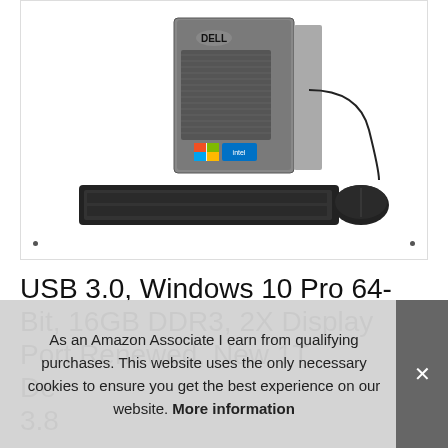[Figure (photo): Dell desktop computer tower with keyboard and mouse on white background]
USB 3.0, Windows 10 Pro 64-Bit, 16GB DDR3, 2X Display Port Renewed, New 1T De 3.8
As an Amazon Associate I earn from qualifying purchases. This website uses the only necessary cookies to ensure you get the best experience on our website. More information